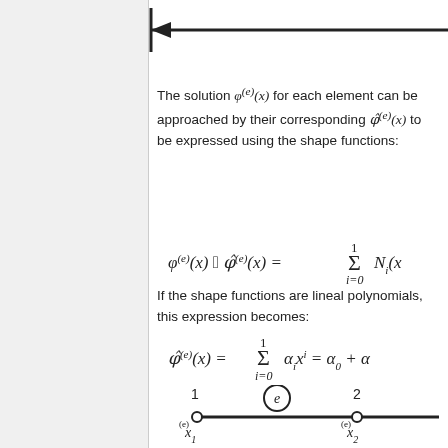[Figure (schematic): Arrow pointing left with a vertical bar at the left end, representing an element boundary or navigation arrow.]
The solution φ^(e)(x) for each element can be approached by their corresponding φ̂^(e)(x) to be expressed using the shape functions:
If the shape functions are lineal polynomials, this expression becomes:
[Figure (schematic): Diagram of a 1D element (e) with nodes 1 and 2 at positions x_1^(e) and x_2^(e), connected by a line segment, with node markers as open circles and element label (e) in a circle above.]